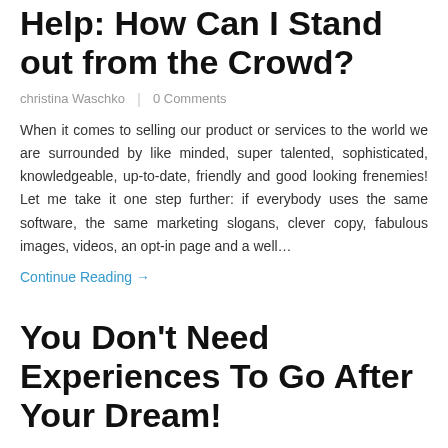Help: How Can I Stand out from the Crowd?
christina Waschko | 0 Comments
When it comes to selling our product or services to the world we are surrounded by like minded, super talented, sophisticated, knowledgeable, up-to-date, friendly and good looking frenemies!  Let me take it one step further: if everybody uses the same software, the same marketing slogans, clever copy, fabulous images, videos, an opt-in page and a well…
Continue Reading →
You Don't Need Experiences To Go After Your Dream!
christina Waschko | 0 Comments
Being pregnant gives you lots to look forward to and lots to worry about!